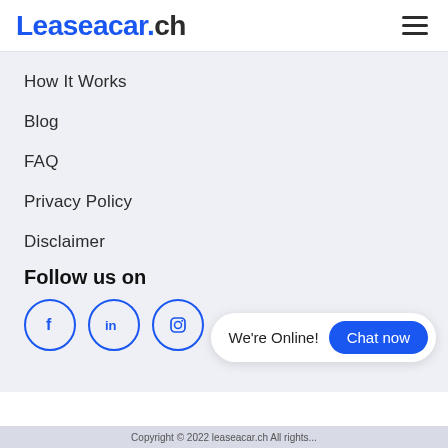Leaseacar.ch
How It Works
Blog
FAQ
Privacy Policy
Disclaimer
Follow us on
[Figure (illustration): Three social media icon circles: Facebook (f), LinkedIn (in), Instagram (camera icon), outlined in blue]
We're Online! Chat now
Copyright © 2022 leaseacar.ch All rights...